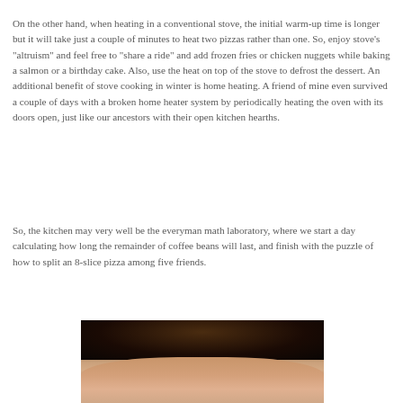On the other hand, when heating in a conventional stove, the initial warm-up time is longer but it will take just a couple of minutes to heat two pizzas rather than one. So, enjoy stove’s “altruism” and feel free to "share a ride" and add frozen fries or chicken nuggets while baking a salmon or a birthday cake. Also, use the heat on top of the stove to defrost the dessert. An additional benefit of stove cooking in winter is home heating. A friend of mine even survived a couple of days with a broken home heater system by periodically heating the oven with its doors open, just like our ancestors with their open kitchen hearths.
So, the kitchen may very well be the everyman math laboratory, where we start a day calculating how long the remainder of coffee beans will last, and finish with the puzzle of how to split an 8-slice pizza among five friends.
[Figure (photo): A close-up photograph of a person, showing their face and upper body against a dark background, with warm skin tones visible.]